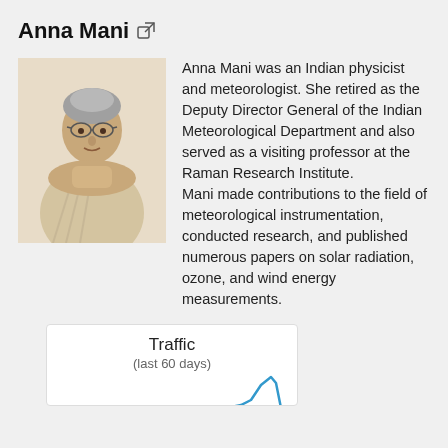Anna Mani
[Figure (photo): Portrait photo of Anna Mani, an elderly Indian woman wearing a light-colored sari]
Anna Mani was an Indian physicist and meteorologist. She retired as the Deputy Director General of the Indian Meteorological Department and also served as a visiting professor at the Raman Research Institute.
Mani made contributions to the field of meteorological instrumentation, conducted research, and published numerous papers on solar radiation, ozone, and wind energy measurements.
[Figure (line-chart): Traffic chart (last 60 days) showing a spike at the right edge]